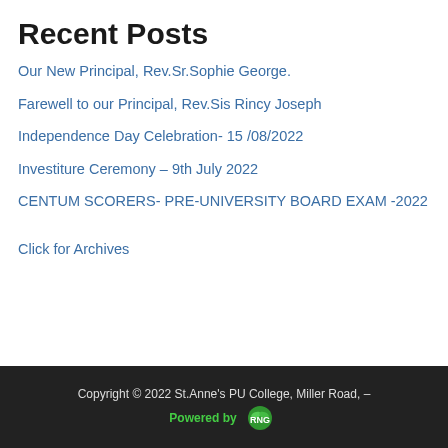Recent Posts
Our New Principal, Rev.Sr.Sophie George.
Farewell to our Principal, Rev.Sis Rincy Joseph
Independence Day Celebration- 15 /08/2022
Investiture Ceremony – 9th July 2022
CENTUM SCORERS- PRE-UNIVERSITY BOARD EXAM -2022
Click for Archives
Copyright © 2022 St.Anne's PU College, Miller Road, – Powered by RNG